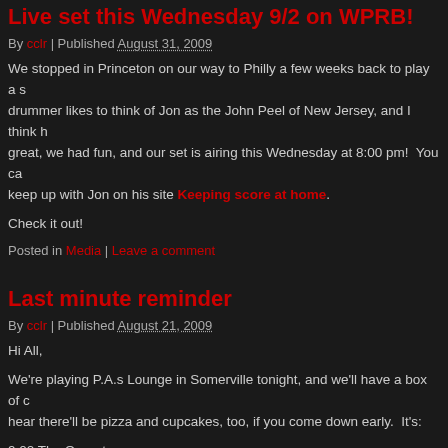Live set this Wednesday 9/2 on WPRB!
By cclr | Published August 31, 2009
We stopped in Princeton on our way to Philly a few weeks back to play a s... drummer likes to think of Jon as the John Peel of New Jersey, and I think h... great, we had fun, and our set is airing this Wednesday at 8:00 pm!  You ca... keep up with Jon on his site Keeping score at home.
Check it out!
Posted in Media | Leave a comment
Last minute reminder
By cclr | Published August 21, 2009
Hi All,
We're playing P.A.s Lounge in Somerville tonight, and we'll have a box of c... hear there'll be pizza and cupcakes, too, if you come down early.  It's:
9:00 The Operators